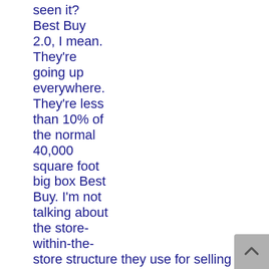seen it? Best Buy 2.0, I mean. They're going up everywhere. They're less than 10% of the normal 40,000 square foot big box Best Buy. I'm not talking about the store-within-the-store structure they use for selling cellphones. I'm talking about stand-alones of the same flavor going up in malls and downtown areas.
Best Buy Mobile. Little boxes, just for cellular. Radically original idea? Nah. They bought half of Carphone Warehouse's retail operations to form a joint partnership. Now they offer nearly a